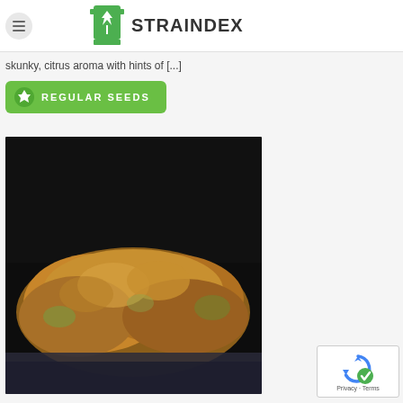STRAINDEX
skunky, citrus aroma with hints of [...]
REGULAR SEEDS
[Figure (photo): Close-up photo of cannabis buds on a dark background]
[Figure (logo): reCAPTCHA logo with Privacy - Terms text]